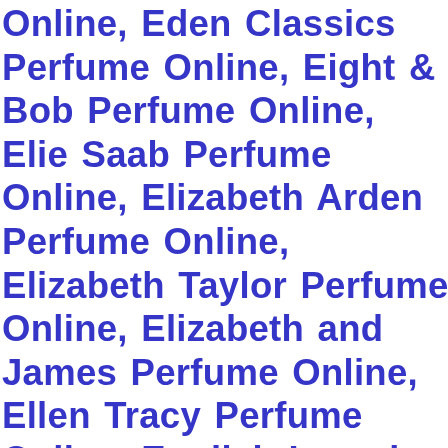Online, Eden Classics Perfume Online, Eight & Bob Perfume Online, Elie Saab Perfume Online, Elizabeth Arden Perfume Online, Elizabeth Taylor Perfume Online, Elizabeth and James Perfume Online, Ellen Tracy Perfume Online, English Laundry Perfume Online, Enrico Coveri Perfume Online, Enrique Iglesias Perfume Online, Enzo Galardi Perfume Online, Enzo Rossi Perfume Online, Erica Taylor Perfume Online, Ermenegildo Zegna Perfume Online, Erox ... nline, Esce... ...tee Laud... ome Online, Estelle Vendome Perfume Online, Etat Lib... DIO... Perfume Online, Et... Lib...
[Figure (screenshot): A popup notification card showing: a photo of a woman in a yellow off-shoulder dress, text 'Gabrielle K. in Dobbs Ferry, United States purchased', product name 'Ruched Off-Shoulder Mini ...', timestamp '10 hour(s) ago', a close button (×), a red badge with number 1, and a dark cart/shopping bag icon.]